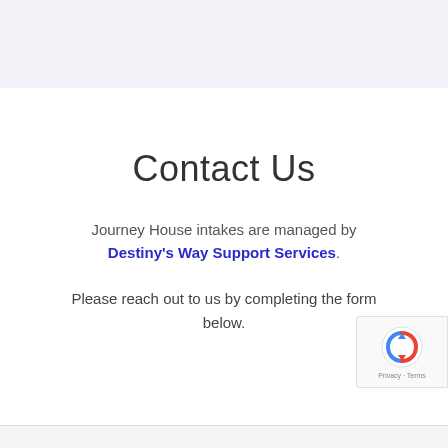Contact Us
Journey House intakes are managed by Destiny's Way Support Services.
Please reach out to us by completing the form below.